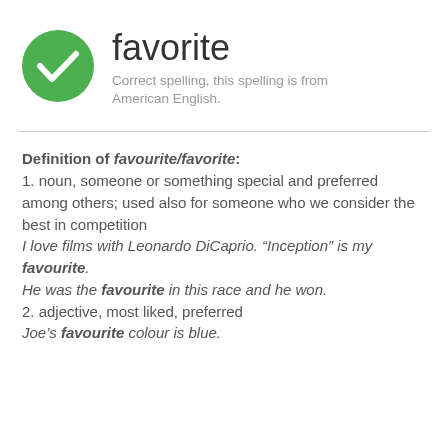[Figure (illustration): Green circle with white checkmark icon]
favorite
Correct spelling, this spelling is from American English.
Definition of favourite/favorite:
1. noun, someone or something special and preferred among others; used also for someone who we consider the best in competition
I love films with Leonardo DiCaprio. “Inception” is my favourite.
He was the favourite in this race and he won.
2. adjective, most liked, preferred
Joe’s favourite colour is blue.